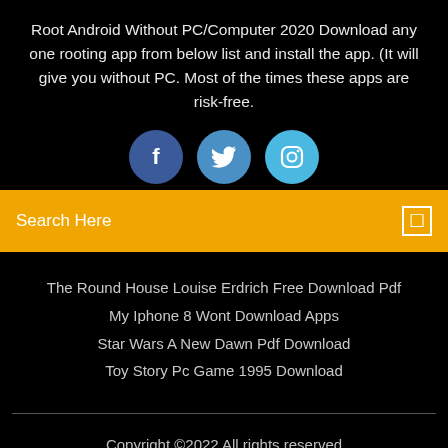Root Android Without PC/Computer 2020 Download any one rooting app from below list and install the app. (It will give you without PC. Most of the times these apps are risk-free.
[Figure (infographic): Three social media icon circles: Facebook (dark blue), Twitter (medium blue), Instagram (light blue)]
Search Here
The Round House Louise Erdrich Free Download Pdf
My Iphone 8 Wont Download Apps
Star Wars A New Dawn Pdf Download
Toy Story Pc Game 1995 Download
Copyright ©2022 All rights reserved